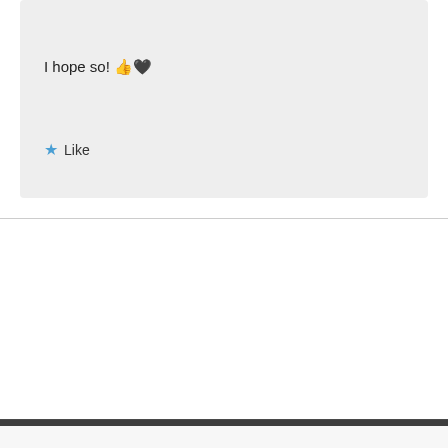I hope so! 👍🖤
★ Like
Leave a Reply
You must be logged in to post a comment.
AUTHOR: LITTLE CHARMER
[Figure (illustration): Black and white collage image with text 'SAD BOY' and 'not everything sucks' among various illustrated elements]